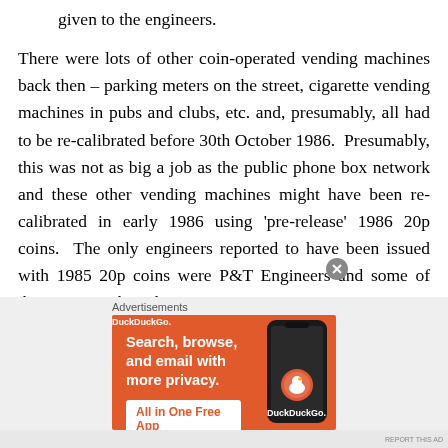given to the engineers.
There were lots of other coin-operated vending machines back then – parking meters on the street, cigarette vending machines in pubs and clubs, etc. and, presumably, all had to be re-calibrated before 30th October 1986.  Presumably, this was not as big a job as the public phone box network and these other vending machines might have been re-calibrated in early 1986 using 'pre-release' 1986 20p coins.  The only engineers reported to have been issued with 1985 20p coins were P&T Engineers and some of those seem to have bee
[Figure (screenshot): Advertisement for DuckDuckGo app: orange background with text 'Search, browse, and email with more privacy. All in One Free App' and an illustration of a smartphone with DuckDuckGo logo]